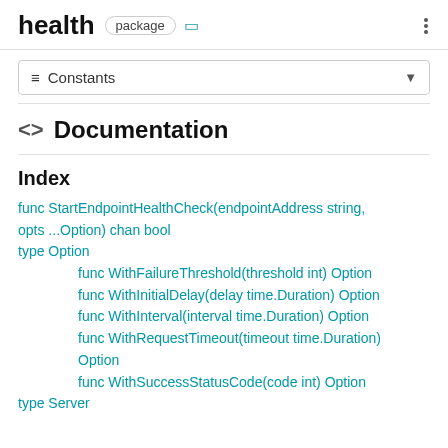health  package
≡ Constants
<> Documentation
Index
func StartEndpointHealthCheck(endpointAddress string, opts ...Option) chan bool
type Option
func WithFailureThreshold(threshold int) Option
func WithInitialDelay(delay time.Duration) Option
func WithInterval(interval time.Duration) Option
func WithRequestTimeout(timeout time.Duration) Option
func WithSuccessStatusCode(code int) Option
type Server